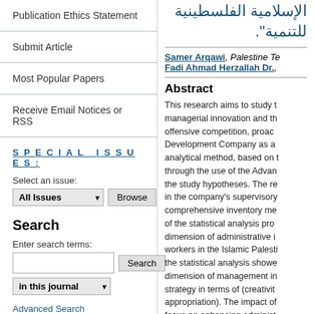Publication Ethics Statement
Submit Article
Most Popular Papers
Receive Email Notices or RSS
SPECIAL ISSUES:
Select an issue: All Issues [Browse]
Search
Enter search terms: [Search] in this journal
Advanced Search
الإسلامية الفلسطينية للتنمية".
Samer Arqawi, Palestine Te... Fadi Ahmad Herzallah Dr., ...
Abstract
This research aims to study the managerial innovation and the offensive competition, proac... Development Company as a... analytical method, based on... through the use of the Advan... the study hypotheses. The re... in the company's supervisory... comprehensive inventory me... of the statistical analysis pro... dimension of administrative i... workers in the Islamic Palesti... the statistical analysis showe... dimension of management in... strategy in terms of (creativit... appropriation). The impact of... focus on enhancing administ...